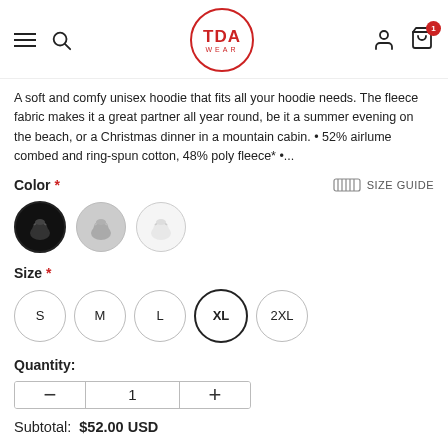TDA WEAR navigation header with menu, search, logo, account, and cart icons
A soft and comfy unisex hoodie that fits all your hoodie needs. The fleece fabric makes it a great partner all year round, be it a summer evening on the beach, or a Christmas dinner in a mountain cabin. • 52% airlume combed and ring-spun cotton, 48% poly fleece* •...
Color *
SIZE GUIDE
[Figure (illustration): Three circular color swatches: black hoodie (selected, dark border), gray hoodie, white/pattern hoodie]
Size *
[Figure (illustration): Five circular size selector buttons: S, M, L, XL (selected with bold border), 2XL]
Quantity:
[Figure (illustration): Quantity control with minus button, value 1, and plus button]
Subtotal:  $52.00 USD